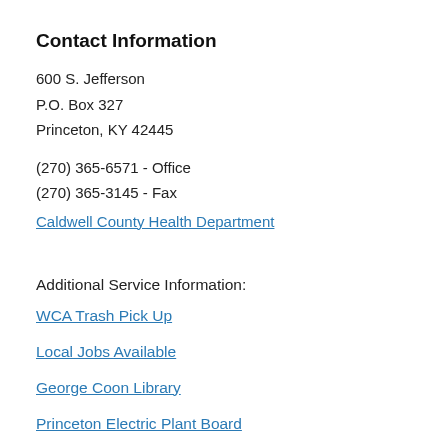Contact Information
600 S. Jefferson
P.O. Box 327
Princeton, KY 42445
(270) 365-6571 - Office
(270) 365-3145 - Fax
Caldwell County Health Department
Additional Service Information:
WCA Trash Pick Up
Local Jobs Available
George Coon Library
Princeton Electric Plant Board